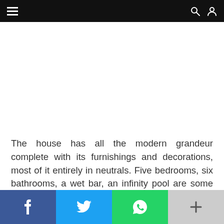Navigation bar with hamburger menu, search and user icons
[Figure (photo): Large image placeholder area (white/blank) showing a house or property interior/exterior]
The house has all the modern grandeur complete with its furnishings and decorations, most of it entirely in neutrals. Five bedrooms, six bathrooms, a wet bar, an infinity pool are some of the attractions of the house apart from the elaborate view of the Santa Rosa mountains. Cook can definitely use some aesthetic and natural calm. That might actually help him in coming up with
Social share bar: Facebook, Twitter, WhatsApp, More